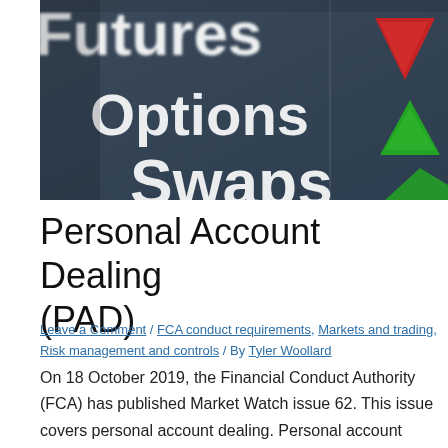[Figure (photo): Close-up photo of a dark digital trading screen showing the words 'Futures', 'Options', 'Swaps' in white text, with red downward-pointing and green upward-pointing arrow indicators on the right side.]
Personal Account Dealing (PAD)
Leave a Comment / FCA conduct requirements, Markets and trading, Risk management and controls / By Tyler Woollard
On 18 October 2019, the Financial Conduct Authority (FCA) has published Market Watch issue 62. This issue covers personal account dealing. Personal account dealing Personal account dealing (PAD) is where employees of an authorised firm trade for themselves rather than